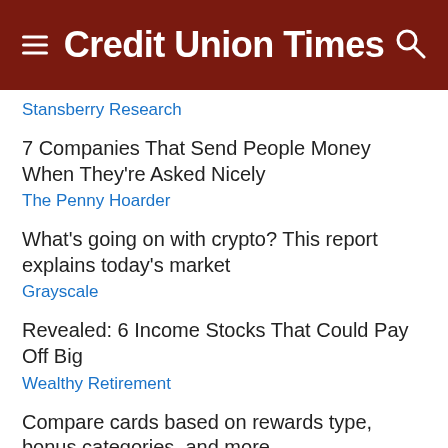Credit Union Times
Stansberry Research
7 Companies That Send People Money When They're Asked Nicely
The Penny Hoarder
What's going on with crypto? This report explains today's market
Grayscale
Revealed: 6 Income Stocks That Could Pay Off Big
Wealthy Retirement
Compare cards based on rewards type, bonus categories, and more.
Credit Rewards | Search Ads
Dianomi